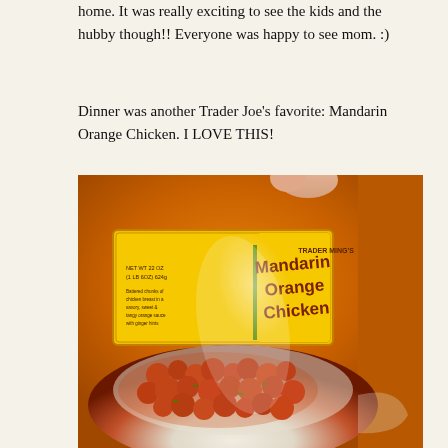home. It was really exciting to see the kids and the hubby though!! Everyone was happy to see mom. :)
Dinner was another Trader Joe's favorite: Mandarin Orange Chicken. I LOVE THIS!
[Figure (photo): Photo of a bag of Trader Joe's Trader Ming's Mandarin Orange Chicken, a bright orange package with yellow label showing the product name. The bag shows an image of orange chicken pieces in a white bowl. NET WT 22 OZ (1 LB 6OZ) 624g is printed on the label.]